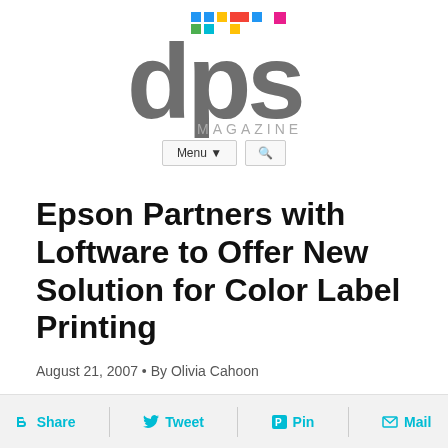[Figure (logo): DPS Magazine logo — large grey letters 'd', 'p', 's' with colorful pixel-square dots above them, and 'MAGAZINE' in grey below]
Menu ▾  🔍
Epson Partners with Loftware to Offer New Solution for Color Label Printing
August 21, 2007 • By Olivia Cahoon
Share  Tweet  Pin  Mail